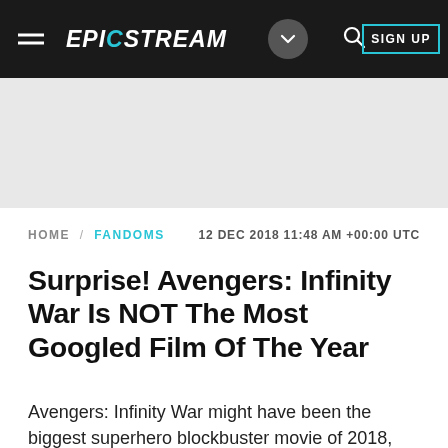EPICSTREAM
[Figure (screenshot): Epicstream website navigation bar with logo, dropdown button, search icon, and sign up button on dark background]
HOME / FANDOMS   12 DEC 2018 11:48 AM +00:00 UTC
Surprise! Avengers: Infinity War Is NOT The Most Googled Film Of The Year
Avengers: Infinity War might have been the biggest superhero blockbuster movie of 2018, but surp…